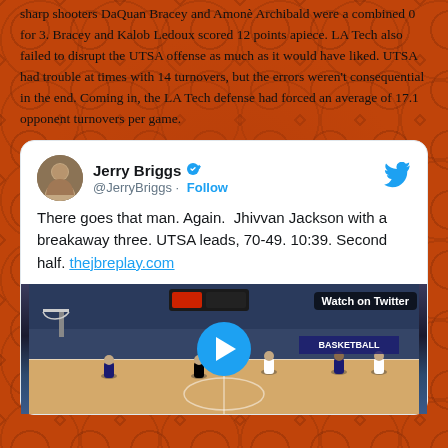sharp shooters DaQuan Bracey and Amonè Archibald were a combined 0 for 3. Bracey and Kalob Ledoux scored 12 points apiece. LA Tech also failed to disrupt the UTSA offense as much as it would have liked. UTSA had trouble at times with 14 turnovers, but the errors weren't consequential in the end. Coming in, the LA Tech defense had forced an average of 17.1 opponent turnovers per game.
[Figure (screenshot): Embedded tweet from @JerryBriggs (verified) with Twitter bird icon, avatar photo, handle, Follow link, tweet text about Jhivvan Jackson breakaway three UTSA leads 70-49, and a video thumbnail showing a basketball game with Watch on Twitter label and play button.]